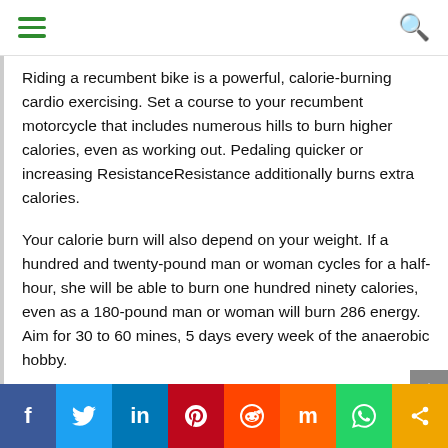Navigation bar with hamburger menu and search icon
Riding a recumbent bike is a powerful, calorie-burning cardio exercising. Set a course to your recumbent motorcycle that includes numerous hills to burn higher calories, even as working out. Pedaling quicker or increasing ResistanceResistance additionally burns extra calories.
Your calorie burn will also depend on your weight. If a hundred and twenty-pound man or woman cycles for a half-hour, she will be able to burn one hundred ninety calories, even as a 180-pound man or woman will burn 286 energy. Aim for 30 to 60 mines, 5 days every week of the anaerobic hobby.
Social share bar: Facebook, Twitter, LinkedIn, Pinterest, Reddit, Mix, WhatsApp, Share